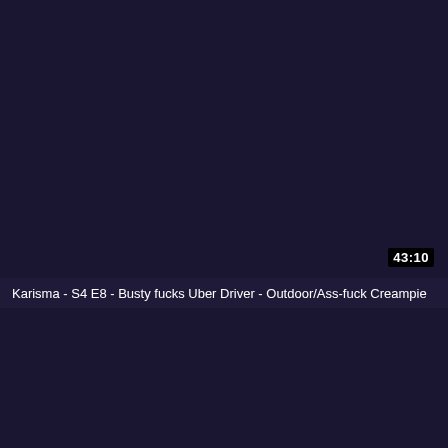[Figure (screenshot): Dark navy/purple video thumbnail area, mostly dark with no visible content]
43:10
Karisma - S4 E8 - Busty fucks Uber Driver - Outdoor/Ass-fuck Creampie